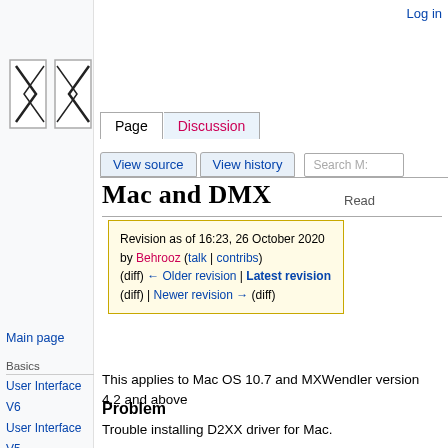Log in
[Figure (logo): MXWendler logo with stylized X shape in black and white]
Page | Discussion | Read | View source | View history | Search M:
Mac and DMX
Revision as of 16:23, 26 October 2020 by Behrooz (talk | contribs) (diff) ← Older revision | Latest revision (diff) | Newer revision → (diff)
This applies to Mac OS 10.7 and MXWendler version 4.2 and above
Problem
Trouble installing D2XX driver for Mac.
Solution
1. Download PRO-Manager from the ENTTEC website
http://www.enttec.com/p...
Main page
Basics
User Interface V6
User Interface V5
Tutorials
Triggering
Knowledge Base
OSC Reference
Trouble Shooting
Usage Tips
Performance